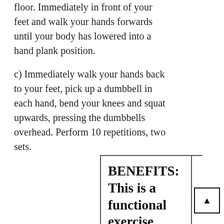floor. Immediately in front of your feet and walk your hands forwards until your body has lowered into a hand plank position.
c) Immediately walk your hands back to your feet, pick up a dumbbell in each hand, bend your knees and squat upwards, pressing the dumbbells overhead. Perform 10 repetitions, two sets.
BENEFITS: This is a functional exercise